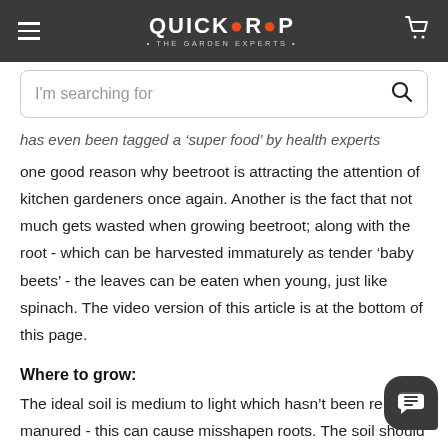QUICKCROP · THE GARDEN EXPERTS
I'm searching for
has even been tagged a 'super food' by health experts one good reason why beetroot is attracting the attention of kitchen gardeners once again. Another is the fact that not much gets wasted when growing beetroot; along with the root - which can be harvested immaturely as tender 'baby beets' - the leaves can be eaten when young, just like spinach. The video version of this article is at the bottom of this page.
Where to grow:
The ideal soil is medium to light which hasn't been re-manured - this can cause misshapen roots. The soil should